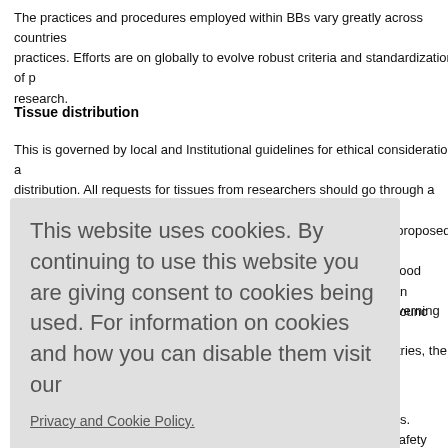The practices and procedures employed within BBs vary greatly across countries practices. Efforts are on globally to evolve robust criteria and standardization of practices research.
Tissue distribution
This is governed by local and Institutional guidelines for ethical considerations and distribution. All requests for tissues from researchers should go through a Scientific well as independent clinical experts in the field to review the study proposed, the relevance of study, ethical compliance, tissue availability, etc. It is good practice, agreement signed by both parties, which clearly spells out rules governing secondary authorship issues, etc. In event of sharing of tissues between countries, the of na ian Council
ols. Safety cautions to and admini d protocols
[Figure (screenshot): Cookie consent overlay with message: 'This website uses cookies. By continuing to use this website you are giving consent to cookies being used. For information on cookies and how you can disable them visit our Privacy and Cookie Policy.' with an AGREE & PROCEED red button.]
All biobanks must enrol for accredidtation to ensure that they are periodically eva